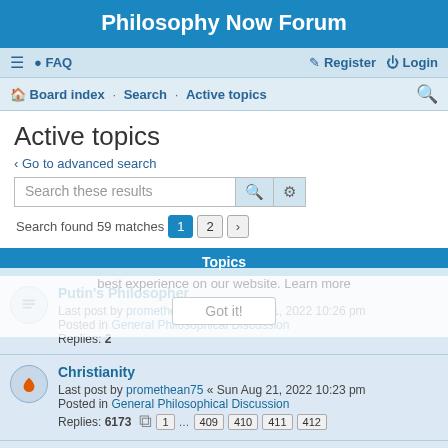Philosophy Now Forum
≡  FAQ    Register   Login
Board index · Search · Active topics
Active topics
< Go to advanced search
Search these results
Search found 59 matches  1  2  >
Topics
Putin's Philosopher
Last post by promethean75 « Sun Aug 21, 2022 10:26 pm
Posted in General Philosophical Discussion
Replies: 2
Christianity
Last post by promethean75 « Sun Aug 21, 2022 10:23 pm
Posted in General Philosophical Discussion
Replies: 6173   1 … 409 410 411 412
theodicy
Last post by seeds « Sun Aug 21, 2022 9:34 pm
Posted in Philosophy of Religion
Replies: 42